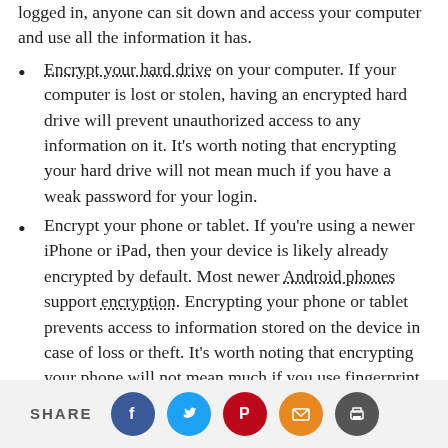logged in, anyone can sit down and access your computer and use all the information it has.
Encrypt your hard drive on your computer. If your computer is lost or stolen, having an encrypted hard drive will prevent unauthorized access to any information on it. It's worth noting that encrypting your hard drive will not mean much if you have a weak password for your login.
Encrypt your phone or tablet. If you're using a newer iPhone or iPad, then your device is likely already encrypted by default. Most newer Android phones support encryption. Encrypting your phone or tablet prevents access to information stored on the device in case of loss or theft. It's worth noting that encrypting your phone will not mean much if you use fingerprint unlock or a weak
SHARE